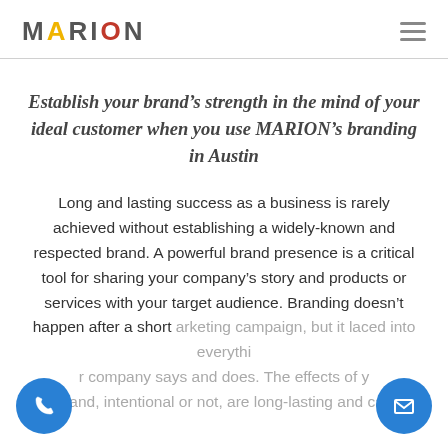MARION
Establish your brand’s strength in the mind of your ideal customer when you use MARION’s branding in Austin
Long and lasting success as a business is rarely achieved without establishing a widely-known and respected brand. A powerful brand presence is a critical tool for sharing your company’s story and products or services with your target audience. Branding doesn’t happen after a short marketing campaign, but it laced into everything your company says and does. The effects of your brand, intentional or not, are long-lasting and can